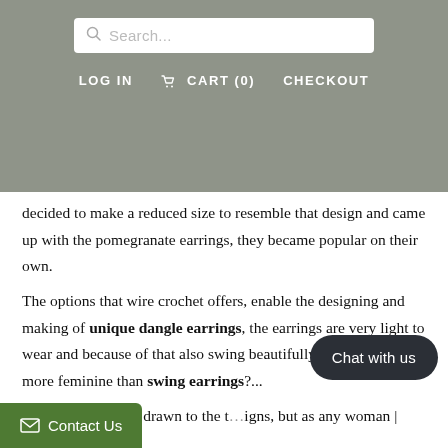Search... | LOG IN  CART (0)  CHECKOUT
decided to make a reduced size to resemble that design and came up with the pomegranate earrings, they became popular on their own.

The options that wire crochet offers, enable the designing and making of unique dangle earrings, the earrings are very light to wear and because of that also swing beautifully, and what is more feminine than swing earrings?...

Basically I'm more drawn to the [...]igns, but as any woman |